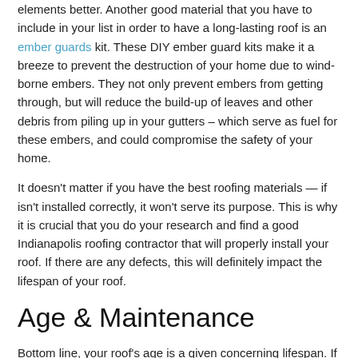elements better. Another good material that you have to include in your list in order to have a long-lasting roof is an ember guards kit. These DIY ember guard kits make it a breeze to prevent the destruction of your home due to wind-borne embers. They not only prevent embers from getting through, but will reduce the build-up of leaves and other debris from piling up in your gutters – which serve as fuel for these embers, and could compromise the safety of your home.
It doesn't matter if you have the best roofing materials — if isn't installed correctly, it won't serve its purpose. This is why it is crucial that you do your research and find a good Indianapolis roofing contractor that will properly install your roof. If there are any defects, this will definitely impact the lifespan of your roof.
Age & Maintenance
Bottom line, your roof's age is a given concerning lifespan. If your roof is near the end of its life, then you know that you will have to